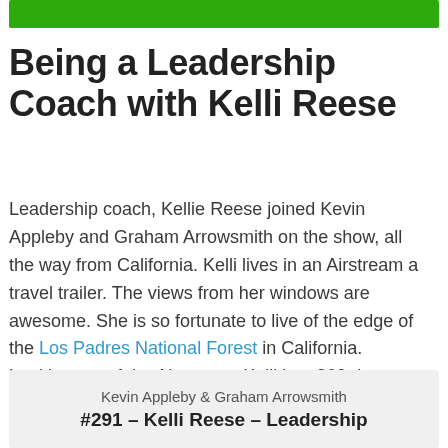[Figure (other): Green decorative bar at top of page]
Being a Leadership Coach with Kelli Reese
Leadership coach, Kellie Reese joined Kevin Appleby and Graham Arrowsmith on the show, all the way from California. Kelli lives in an Airstream a travel trailer. The views from her windows are awesome. She is so fortunate to live of the edge of the Los Padres National Forest in California. Looking out of the Airstream, Kelli has 360 degree views of mountains, valleys and lots of open sky.
Kevin Appleby & Graham Arrowsmith
#291 – Kelli Reese – Leadership